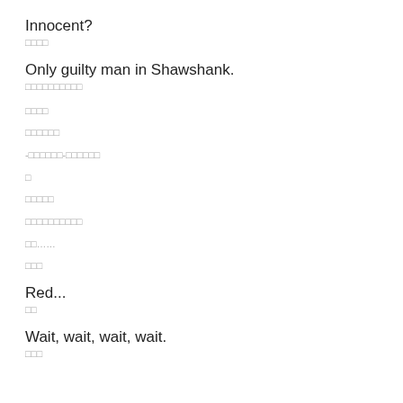Innocent?
□□□□
Only guilty man in Shawshank.
□□□□□□□□□□
□□□□
□□□□□□
-□□□□□□-□□□□□□
□
□□□□□
□□□□□□□□□□
□□……
□□□
Red...
□□
Wait, wait, wait, wait.
□□□